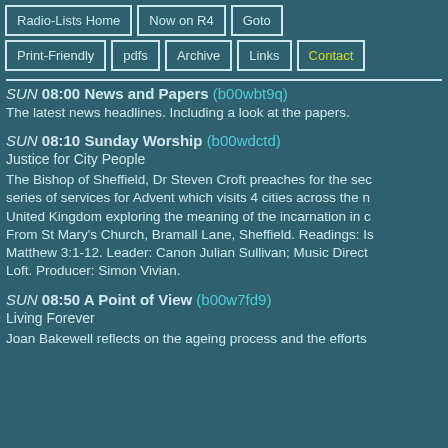Radio-Lists Home | Now on R4 | Goto | Print-Friendly | pdfs | Archive | Links | Contact
SUN 08:00 News and Papers (b00wbt9q)
The latest news headlines. Including a look at the papers.
SUN 08:10 Sunday Worship (b00wdctd)
Justice for City People

The Bishop of Sheffield, Dr Steven Croft preaches for the second in a series of services for Advent which visits 4 cities across the United Kingdom exploring the meaning of the incarnation in our cities. From St Mary's Church, Bramall Lane, Sheffield. Readings: Isaiah 11, Matthew 3:1-12. Leader: Canon Julian Sullivan; Music Director: Loft. Producer: Simon Vivian.
SUN 08:50 A Point of View (b00w7fd9)
Living Forever

Joan Bakewell reflects on the ageing process and the efforts